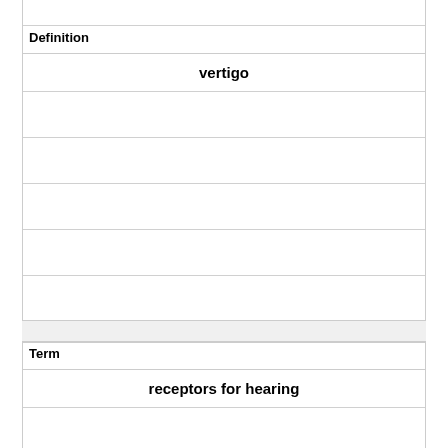| Definition |
| --- |
| vertigo |
|  |
|  |
|  |
|  |
|  |
| Term |
| --- |
| receptors for hearing |
|  |
|  |
|  |
|  |